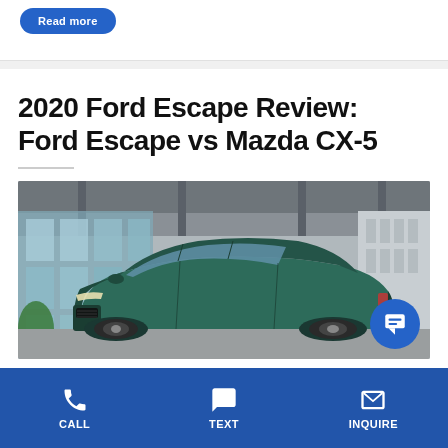[Figure (screenshot): Read More button (blue rounded pill button)]
2020 Ford Escape Review: Ford Escape vs Mazda CX-5
[Figure (photo): 2020 Ford Escape teal/green SUV parked in front of a building with glass facade]
CALL  TEXT  INQUIRE